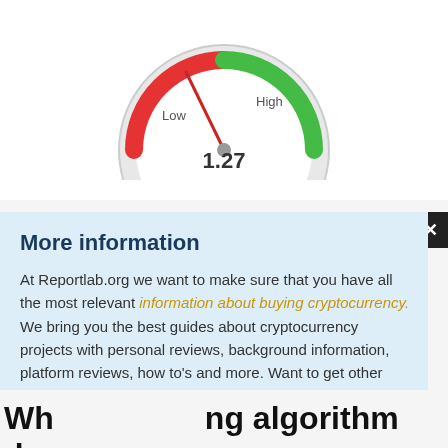[Figure (other): Gauge/speedometer chart showing value 1.27, with red zone labeled Low on the left and green zone labeled High on the right. Needle points slightly left of center.]
More information
At Reportlab.org we want to make sure that you have all the most relevant information about buying cryptocurrency. We bring you the best guides about cryptocurrency projects with personal reviews, background information, platform reviews, how to's and more. Want to get other information? Then read our cryptocurrency price prediction, cryptocurrency rate, cryptocurrency wallet or reviews about cryptocurrency brokers and other information out of our reportlab.
Wh...ng algorithm does CRY...use?